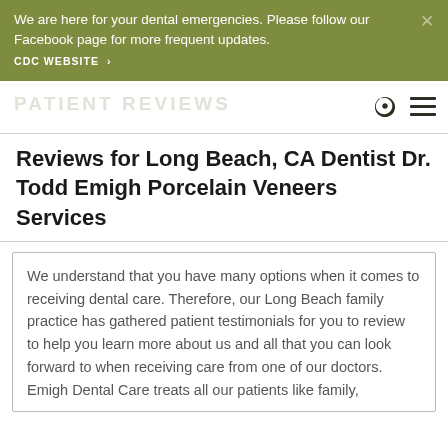We are here for your dental emergencies. Please follow our Facebook page for more frequent updates. CDC WEBSITE >
PATIENT REVIEWS
Reviews for Long Beach, CA Dentist Dr. Todd Emigh Porcelain Veneers Services
We understand that you have many options when it comes to receiving dental care. Therefore, our Long Beach family practice has gathered patient testimonials for you to review to help you learn more about us and all that you can look forward to when receiving care from one of our doctors. Emigh Dental Care treats all our patients like family,